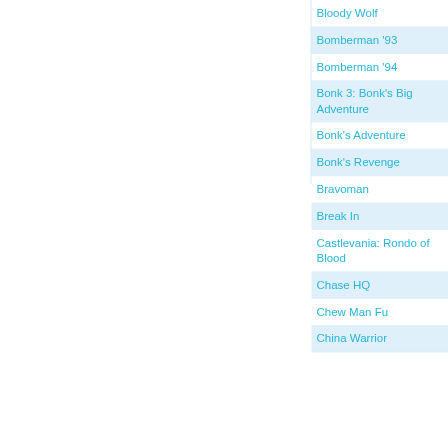Bloody Wolf
Bomberman '93
Bomberman '94
Bonk 3: Bonk's Big Adventure
Bonk's Adventure
Bonk's Revenge
Bravoman
Break In
Castlevania: Rondo of Blood
Chase HQ
Chew Man Fu
China Warrior